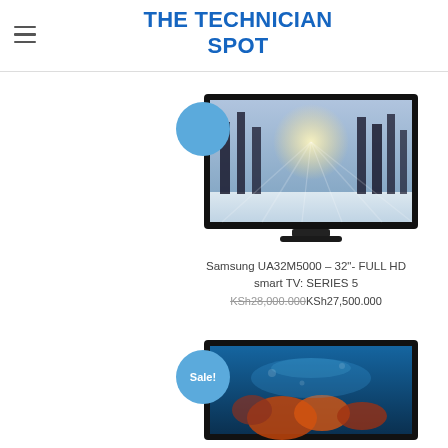THE TECHNICIAN SPOT
[Figure (photo): Samsung UA32M5000 32-inch Full HD Smart TV product photo with a snowy forest scene on screen, with a blue circular badge overlay in top-left]
Samsung UA32M5000 – 32"- FULL HD smart TV: SERIES 5
KSh28,000.000 KSh27,500.000
[Figure (photo): Samsung TV product photo showing ocean/nature scene with colorful coral reef, with a blue 'Sale!' circular badge overlay in top-left]